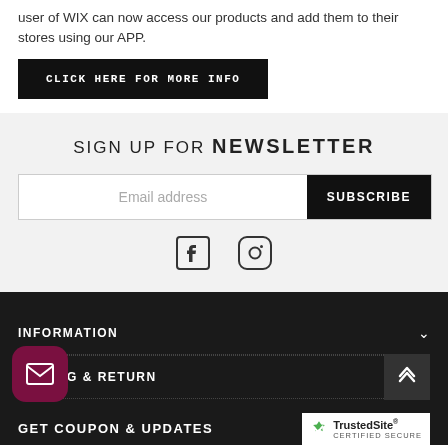user of WIX can now access our products and add them to their stores using our APP.
CLICK HERE FOR MORE INFO
SIGN UP FOR NEWSLETTER
Email address
SUBSCRIBE
[Figure (illustration): Facebook and Instagram social media icons]
INFORMATION
SHIPPING & RETURN
GET COUPON & UPDATES
[Figure (logo): TrustedSite CERTIFIED SECURE badge]
[Figure (illustration): Mail envelope icon in dark red rounded square button]
[Figure (illustration): Scroll to top chevron up button in grey square]